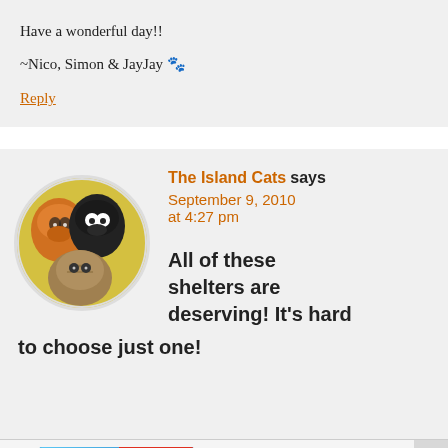Have a wonderful day!!

~Nico, Simon & JayJay 🐾
Reply
The Island Cats says
September 9, 2010 at 4:27 pm
[Figure (photo): Circular avatar showing three cats on yellow background — an orange tabby, a black cat, and a tabby/striped cat]
All of these shelters are deserving! It's hard to choose just one!
Ad  BitLife - Life Simulator  Install!